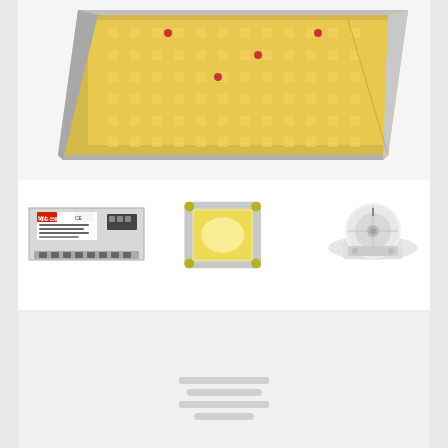[Figure (photo): Top portion showing a large yellow LED grow light panel (ViparSpectra XS Series) viewed from above at an angle, with visible LED chips on a yellow/gold board with aluminum frame]
[Figure (photo): Three product component images in a row: left - Mean Well XLG-150-H-AB driver/power supply unit (silver box with label); center - a single square LED chip glowing warm yellow; right - a rotary dimmer knob control device]
ViparSpectra XS Series Grow Lights: The Ultimate Combination of Design, Power and Value
April 10, 2021
[Figure (photo): A partially loaded gray placeholder card/image block with loading indicator lines at the bottom center]